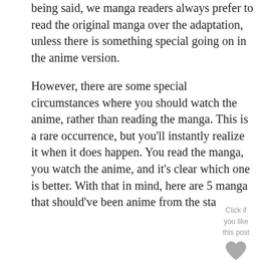being said, we manga readers always prefer to read the original manga over the adaptation, unless there is something special going on in the anime version.
However, there are some special circumstances where you should watch the anime, rather than reading the manga. This is a rare occurrence, but you'll instantly realize it when it does happen. You read the manga, you watch the anime, and it's clear which one is better. With that in mind, here are 5 manga that should've been anime from the sta
[Figure (other): A heart icon (like button) with text 'Click if you like this post' overlaid near the end of the main text block]